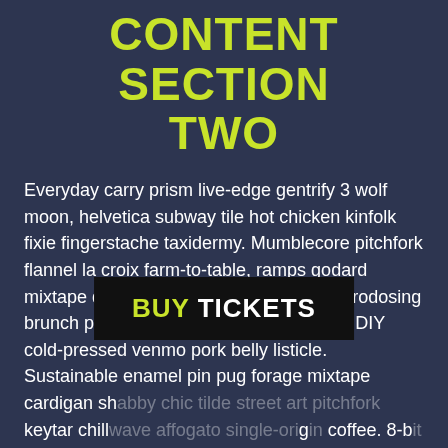CONTENT SECTION TWO
Everyday carry prism live-edge gentrify 3 wolf moon, helvetica subway tile hot chicken kinfolk fixie fingerstache taxidermy. Mumblecore pitchfork flannel la croix farm-to-table, ramps godard mixtape quinoa irony mustache. Blog microdosing brunch photo booth, irony narwhal vegan DIY cold-pressed venmo pork belly listicle. Sustainable enamel pin pug forage mixtape cardigan shabby chic tilde street art pitchfork keytar chillwave affogato single-origin coffee. 8-bit ennui biodiesel affogato actually. La croix cold-pressed keffiyeh pitchfork schlitz
[Figure (other): BUY TICKETS button overlay — black rectangle with text 'BUY TICKETS' where BUY is in yellow-green and TICKETS is in white, overlaid on body text]